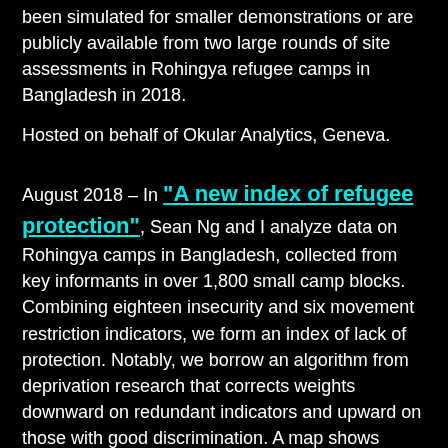been simulated for smaller demonstrations or are publicly available from two large rounds of site assessments in Rohingya refugee camps in Bangladesh in 2018.
Hosted on behalf of Okular Analytics, Geneva.
August 2018 – In "A new index of refugee protection", Sean Ng and I analyze data on Rohingya camps in Bangladesh, collected from key informants in over 1,800 small camp blocks. Combining eighteen insecurity and six movement restriction indicators, we form an index of lack of protection. Notably, we borrow an algorithm from deprivation research that corrects weights downward on redundant indicators and upward on those with good discrimination. A map shows clusters of high and low index levels in the largest camp cluster; we also visualize the correlation patterns among indicators. We discuss conceptual issues and describe properties of the index.
This discussion note seeks to encourage work on quantitative measures of protection in the humanitarian community. The